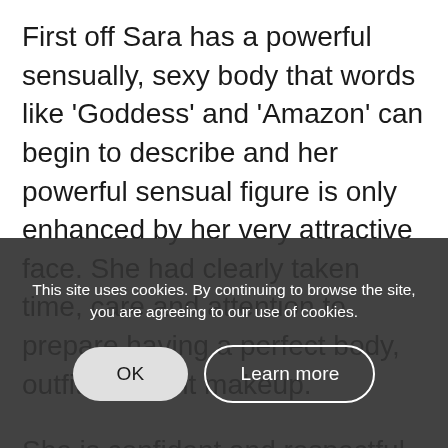First off Sara has a powerful sensually, sexy body that words like 'Goddess' and 'Amazon' can begin to describe and her powerful sensual figure is only enhanced by her very attractive face. She had clearly taken time, care and attention to prepare having a perfect body, outfit and light makeup.
She is confident and respectful which eases any nervousness one might have, whilst exhibiting full control of an authority commanding presence, using her beauty as her sheer strength.
This site uses cookies. By continuing to browse the site, you are agreeing to our use of cookies.